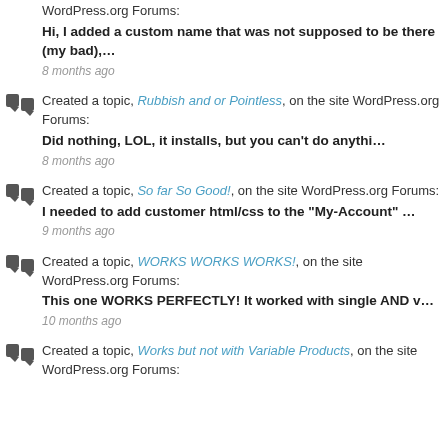WordPress.org Forums: Hi, I added a custom name that was not supposed to be there (my bad),… 8 months ago
Created a topic, Rubbish and or Pointless, on the site WordPress.org Forums: Did nothing, LOL, it installs, but you can't do anythi… 8 months ago
Created a topic, So far So Good!, on the site WordPress.org Forums: I needed to add customer html/css to the "My-Account" … 9 months ago
Created a topic, WORKS WORKS WORKS!, on the site WordPress.org Forums: This one WORKS PERFECTLY! It worked with single AND v… 10 months ago
Created a topic, Works but not with Variable Products, on the site WordPress.org Forums: